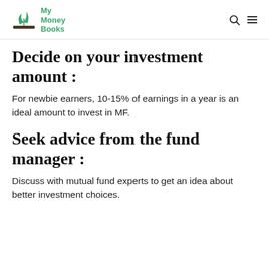My Money Books
Decide on your investment amount :
For newbie earners, 10-15% of earnings in a year is an ideal amount to invest in MF.
Seek advice from the fund manager :
Discuss with mutual fund experts to get an idea about better investment choices.